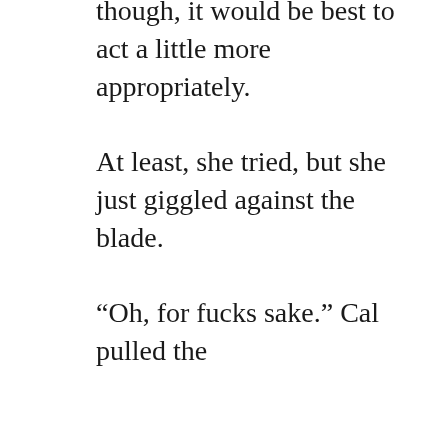though, it would be best to act a little more appropriately.

At least, she tried, but she just giggled against the blade.

“Oh, for fucks sake.” Cal pulled the